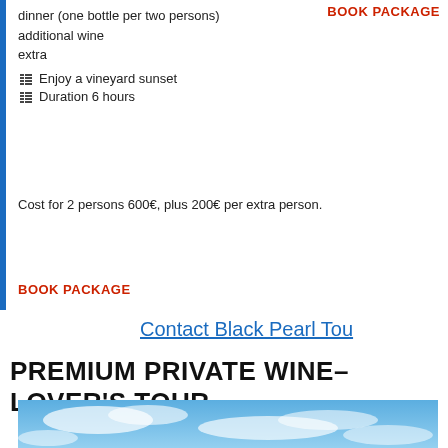dinner (one bottle per two persons)
additional wine
extra
Enjoy a vineyard sunset
Duration 6 hours
Cost for 2 persons 600€, plus 200€ per extra person.
BOOK PACKAGE
BOOK PACKAGE
Contact Black Pearl Tou
PREMIUM PRIVATE WINE–LOVER'S TOUR
[Figure (photo): Blue sky with white clouds]